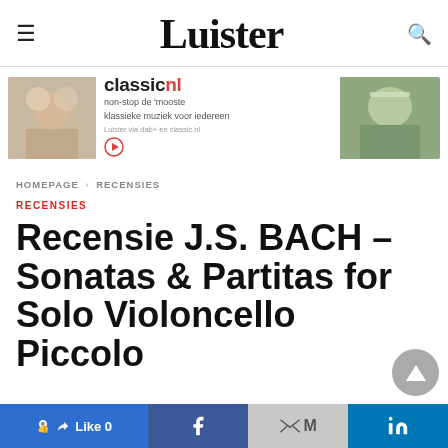Luister
[Figure (photo): Classic.nl advertisement banner with two people listening to music, with text: classicnl non-stop de mooste klassieke muziek voor iedereen. Luister via dab+ en classic.nl]
HOMEPAGE › RECENSIES
RECENSIES
Recensie J.S. BACH – Sonatas & Partitas for Solo Violoncello Piccolo